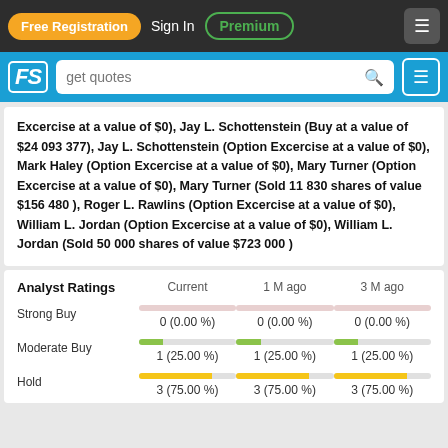Free Registration  Sign In  Premium
FS  get quotes
Excercise at a value of $0), Jay L. Schottenstein (Buy at a value of $24 093 377), Jay L. Schottenstein (Option Excercise at a value of $0), Mark Haley (Option Excercise at a value of $0), Mary Turner (Option Excercise at a value of $0), Mary Turner (Sold 11 830 shares of value $156 480 ), Roger L. Rawlins (Option Excercise at a value of $0), William L. Jordan (Option Excercise at a value of $0), William L. Jordan (Sold 50 000 shares of value $723 000 )
| Analyst Ratings | Current | 1 M ago | 3 M ago |
| --- | --- | --- | --- |
| Strong Buy | 0 (0.00 %) | 0 (0.00 %) | 0 (0.00 %) |
| Moderate Buy | 1 (25.00 %) | 1 (25.00 %) | 1 (25.00 %) |
| Hold | 3 (75.00 %) | 3 (75.00 %) | 3 (75.00 %) |